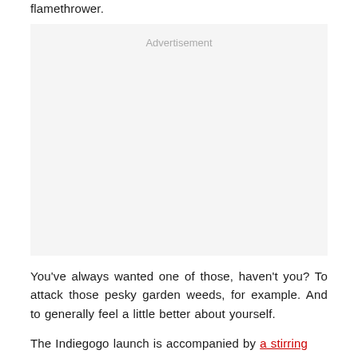flamethrower.
[Figure (other): Advertisement placeholder box with light gray background and 'Advertisement' label in gray text]
You've always wanted one of those, haven't you? To attack those pesky garden weeds, for example. And to generally feel a little better about yourself.
The Indiegogo launch is accompanied by a stirring